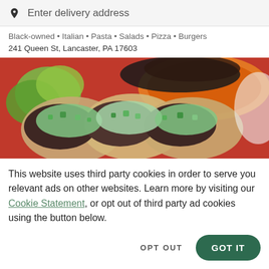Enter delivery address
Black-owned • Italian • Pasta • Salads • Pizza • Burgers
241 Queen St, Lancaster, PA 17603
[Figure (photo): Close-up photo of tacos on a red plate with lime wedges, orange rice, black beans, and green salsa toppings]
This website uses third party cookies in order to serve you relevant ads on other websites. Learn more by visiting our Cookie Statement, or opt out of third party ad cookies using the button below.
OPT OUT
GOT IT